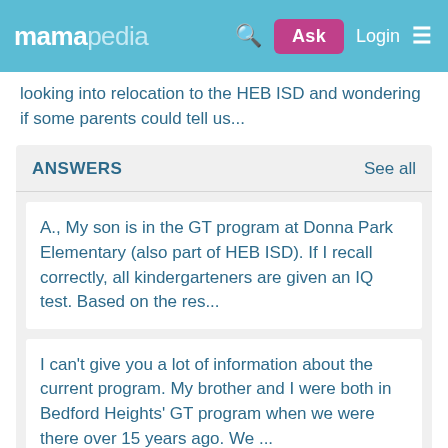mamapedia — Ask | Login | Menu
looking into relocation to the HEB ISD and wondering if some parents could tell us...
ANSWERS
See all
A., My son is in the GT program at Donna Park Elementary (also part of HEB ISD). If I recall correctly, all kindergarteners are given an IQ test. Based on the res...
I can't give you a lot of information about the current program. My brother and I were both in Bedford Heights' GT program when we were there over 15 years ago. We ...